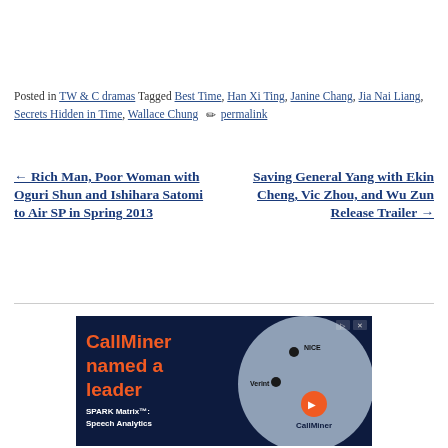Posted in TW & C dramas Tagged Best Time, Han Xi Ting, Janine Chang, Jia Nai Liang, Secrets Hidden in Time, Wallace Chung ✏ permalink
← Rich Man, Poor Woman with Oguri Shun and Ishihara Satomi to Air SP in Spring 2013
Saving General Yang with Ekin Cheng, Vic Zhou, and Wu Zun Release Trailer →
[Figure (other): CallMiner advertisement: 'CallMiner named a leader' with SPARK Matrix: Speech Analytics text, showing a scatter plot diagram with NICE, Verint, and CallMiner labeled dots on a light blue circle background against dark navy background.]